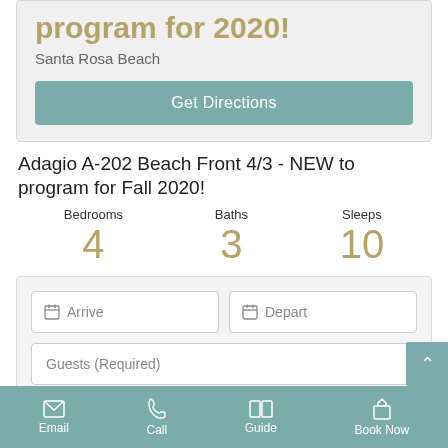program for 2020!
Santa Rosa Beach
Get Directions
Adagio A-202 Beach Front 4/3 - NEW to program for Fall 2020!
| Bedrooms | Baths | Sleeps |
| --- | --- | --- |
| 4 | 3 | 10 |
Arrive
Depart
Guests (Required)
Email  Call  Guide  Book Now